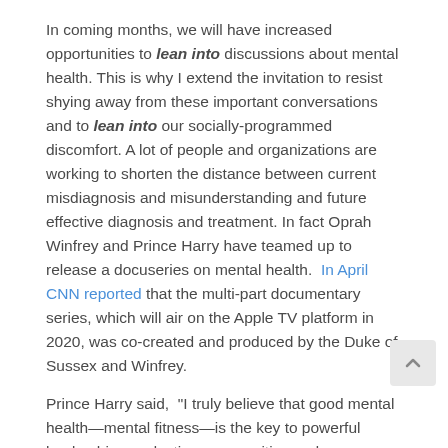In coming months, we will have increased opportunities to lean into discussions about mental health. This is why I extend the invitation to resist shying away from these important conversations and to lean into our socially-programmed  discomfort. A lot of people and organizations are working to shorten the distance between current misdiagnosis and misunderstanding and future effective diagnosis and treatment. In fact Oprah Winfrey and Prince Harry have teamed up to release a docuseries on mental health.  In April CNN reported that the multi-part documentary series, which will air on the Apple TV platform in 2020, was co-created and produced by the Duke of Sussex and Winfrey.
Prince Harry said,  “I truly believe that good mental health—mental fitness—is the key to powerful leadership, productive communities and a purpose…”